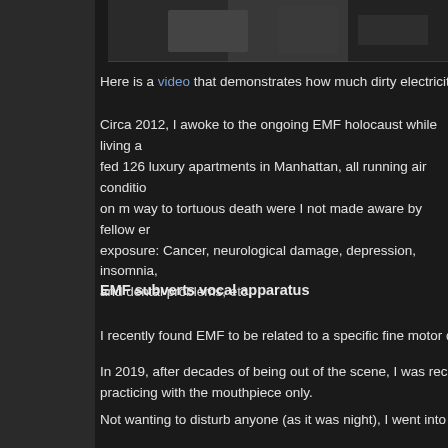[Figure (photo): Partial photo/screenshot visible at top, dark background with some hands or objects]
Here is a video that demonstrates how much dirty electricity co…
Circa 2012, I awoke to the ongoing EMF holocaust while living a… fed 126 luxury apartments in Manhattan, all running air conditio… on m way to tortuous death were I not made aware by fellow er… exposure: Cancer, neurological damage, depression, insomnia,… and dental problems, etc.
EMF subverts vocal apparatus
I recently found EMF to be related to a specific fine motor dysfu…
In 2019, after decades of being out of the scene, I was recoveri… practicing with the mouthpiece only.
Not wanting to disturb anyone (as it was night), I went into the b…
After 20 seconds my throat locked up, as if there were a "tick" i… Aside: This had also happened previously on stage during a so…
Being EMF-aware, I looked around and realized that the bathro… generators). Important: See here and here.